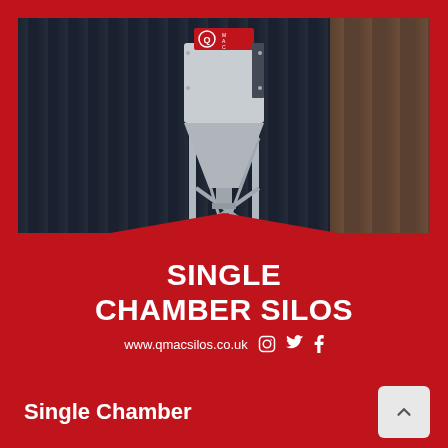[Figure (photo): Photo of a single chamber silo/hopper on a metal frame, mounted outside corrugated metal barn buildings. The silo has a cylindrical top section and conical lower section. A QMAC branded red box is visible at the top. Overlaid on the lower portion of the photo is a red chevron-shaped banner reading SINGLE CHAMBER SILOS with website www.qmacsilos.co.uk and social media icons.]
Single Chamber